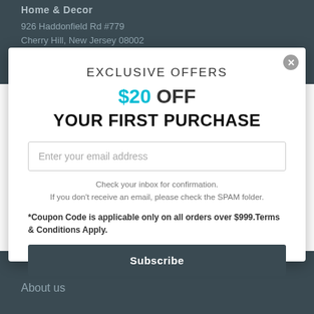Home & Decor
926 Haddonfield Rd #779
Cherry Hill, New Jersey 08002
EXCLUSIVE OFFERS
$20 OFF
YOUR FIRST PURCHASE
Enter your email address
Check your inbox for confirmation.
If you don't receive an email, please check the SPAM folder.
*Coupon Code is applicable only on all orders over $999.Terms & Conditions Apply.
Subscribe
About us